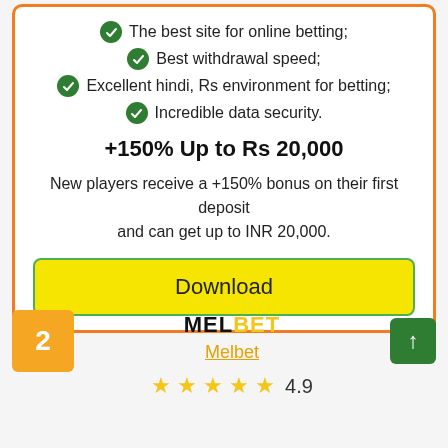The best site for online betting;
Best withdrawal speed;
Excellent hindi, Rs environment for betting;
Incredible data security.
+150% Up to Rs 20,000
New players receive a +150% bonus on their first deposit and can get up to INR 20,000.
Download
2
[Figure (logo): MELBET logo in black and yellow text]
Melbet
★★★★★ 4.9